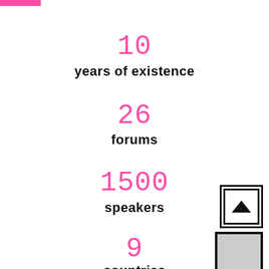[Figure (other): Pink horizontal bar at top left corner]
10
years of existence
26
forums
1500
speakers
9
countries
[Figure (other): Back to top button (square icon with chevron up arrow)]
[Figure (other): Next panel preview at bottom right]